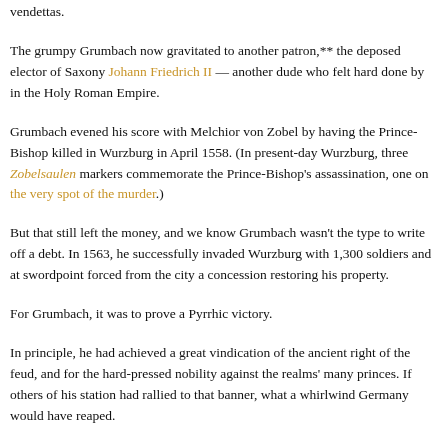vendettas.
The grumpy Grumbach now gravitated to another patron,** the deposed elector of Saxony Johann Friedrich II — another dude who felt hard done by in the Holy Roman Empire.
Grumbach evened his score with Melchior von Zobel by having the Prince-Bishop killed in Wurzburg in April 1558. (In present-day Wurzburg, three Zobelsaulen markers commemorate the Prince-Bishop's assassination, one on the very spot of the murder.)
But that still left the money, and we know Grumbach wasn't the type to write off a debt. In 1563, he successfully invaded Wurzburg with 1,300 soldiers and at swordpoint forced from the city a concession restoring his property.
For Grumbach, it was to prove a Pyrrhic victory.
In principle, he had achieved a great vindication of the ancient right of the feud, and for the hard-pressed nobility against the realms' many princes. If others of his station had rallied to that banner, what a whirlwind Germany would have reaped.
According to Hillay Zmora's State and Nobility in Early Modern Germany: The Knightly Feud in Franconia, 1440-1567, however, Grumbach's fellow-knights looked into this particular abyss and said "nein, danke."
Grumbach was in fact hatching an extravagant scheme† to liberate the entire German nobility … from the yoke of the princes. It was a radical aristocratic utopia … nobles were not only to be protected by the